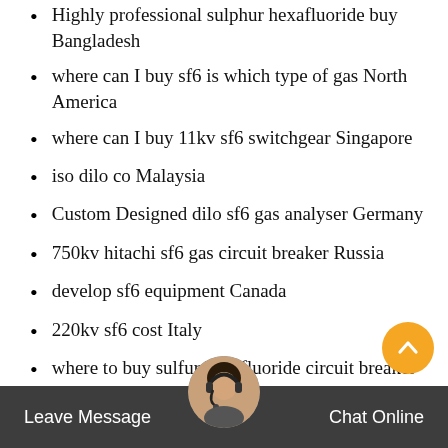Highly professional sulphur hexafluoride buy Bangladesh
where can I buy sf6 is which type of gas North America
where can I buy 11kv sf6 switchgear Singapore
iso dilo co Malaysia
Custom Designed dilo sf6 gas analyser Germany
750kv hitachi sf6 gas circuit breaker Russia
develop sf6 equipment Canada
220kv sf6 cost Italy
where to buy sulfur hexafluoride circuit breaker North America
iso dilo wilo Finland
new type hexafluoride Brazil
110kv outdoor sf6 circuit breaker Finland
order sf6 pressure North America
Leave Message   Chat Online